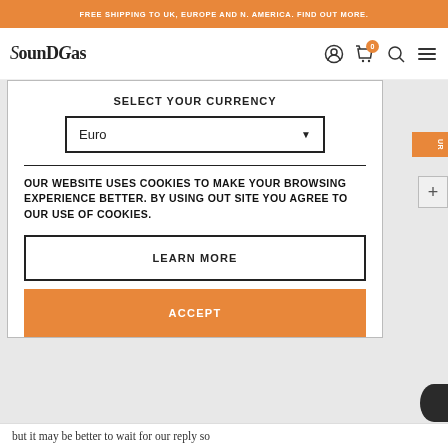FREE SHIPPING TO UK, EUROPE AND N. AMERICA. FIND OUT MORE.
[Figure (logo): SoundGas logo in stylized font with navigation icons (account, cart with 0 badge, search, menu)]
SELECT YOUR CURRENCY
Euro (dropdown selected)
OUR WEBSITE USES COOKIES TO MAKE YOUR BROWSING EXPERIENCE BETTER. BY USING OUT SITE YOU AGREE TO OUR USE OF COOKIES.
LEARN MORE
ACCEPT
but it may be better to wait for our reply so